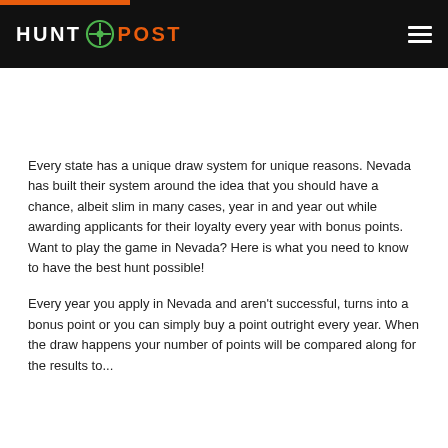HUNT POST
Every state has a unique draw system for unique reasons. Nevada has built their system around the idea that you should have a chance, albeit slim in many cases, year in and year out while awarding applicants for their loyalty every year with bonus points. Want to play the game in Nevada? Here is what you need to know to have the best hunt possible!
Every year you apply in Nevada and aren't successful, turns into a bonus point or you can simply buy a point outright every year. When the draw happens your number of points will be compared along for the results to...